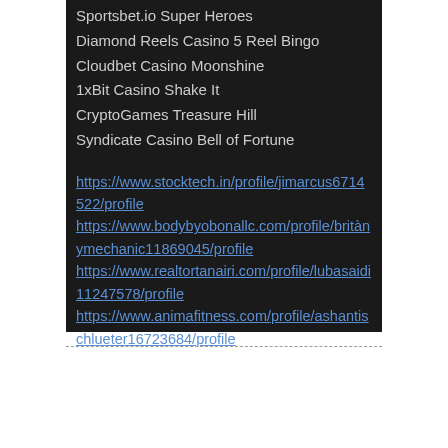Sportsbet.io Super Heroes
Diamond Reels Casino 5 Reel Bingo
Cloudbet Casino Moonshine
1xBit Casino Shake It
CryptoGames Treasure Hill
Syndicate Casino Bell of Fortune
https://www.stocktech.in/profile/jimarcus6714522/profile https://www.bodybyobonallc.com/profile/britànymechanic11869045/profile https://www.realtortanairi.com/profile/lubasaidi11247578/profile https://www.animafitness.com/profile/ashantischlueter16723684/profile